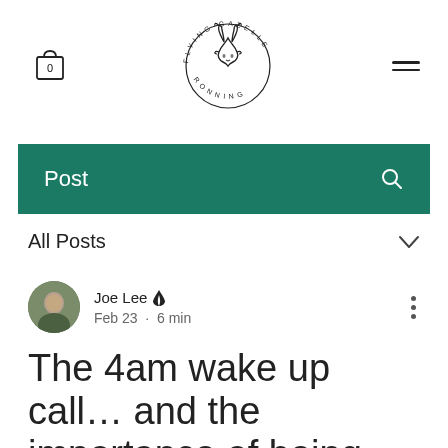Flying Gazelle Running logo with cart (0) and hamburger menu
[Figure (logo): Flying Gazelle Running circular logo with antelope illustration in center, text around circle]
Post
All Posts
Joe Lee · Feb 23 · 6 min
The 4am wake up call… and the importance of being brutally